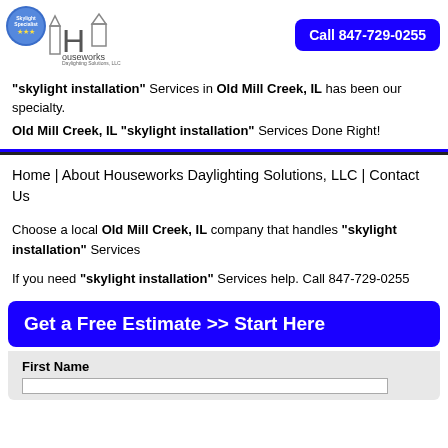[Figure (logo): Houseworks Daylighting Solutions, LLC logo with skylight specialist badge and house outline]
Call 847-729-0255
"skylight installation" Services in Old Mill Creek, IL has been our specialty.
Old Mill Creek, IL "skylight installation" Services Done Right!
Home | About Houseworks Daylighting Solutions, LLC | Contact Us
Choose a local Old Mill Creek, IL company that handles "skylight installation" Services
If you need "skylight installation" Services help. Call 847-729-0255
Get a Free Estimate >> Start Here
First Name